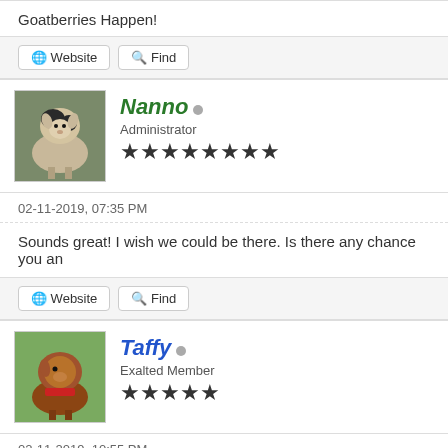Goatberries Happen!
Website | Find
[Figure (photo): Avatar photo of a black and white goat (Nanno)]
Nanno - Administrator - 8 stars
02-11-2019, 07:35 PM
Sounds great! I wish we could be there. Is there any chance you an
Website | Find
[Figure (photo): Avatar photo of a brown goat (Taffy)]
Taffy - Exalted Member - 5 stars
02-11-2019, 10:55 PM